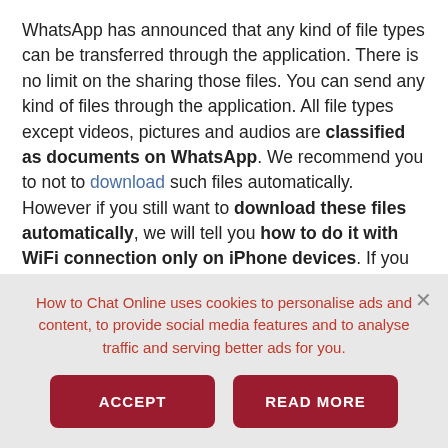WhatsApp has announced that any kind of file types can be transferred through the application. There is no limit on the sharing those files. You can send any kind of files through the application. All file types except videos, pictures and audios are classified as documents on WhatsApp. We recommend you to not to download such files automatically. However if you still want to download these files automatically, we will tell you how to do it with WiFi connection only on iPhone devices. If you have any questions, please ask us through commenting this page. We also recommend you to check pictures where are located
How to Chat Online uses cookies to personalise ads and content, to provide social media features and to analyse traffic and serving better ads for you.